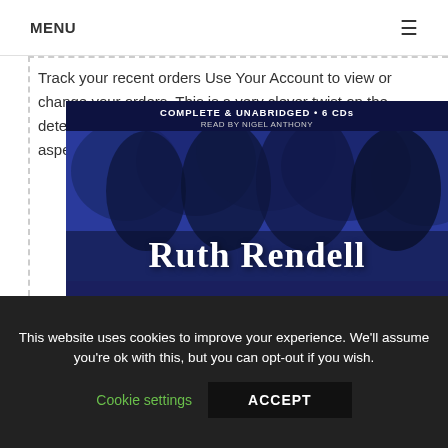MENU ☰
Track your recent orders Use Your Account to view or change your orders. This is a very clever twist on the detective novel format, giving us a chance to see another aspect of Wexford.
[Figure (photo): Book cover for a Ruth Rendell audiobook: Complete & Unabridged, 6 CDs, Read by Nigel Anthony. Dark blue background with the author name Ruth Rendell in large white serif text.]
This website uses cookies to improve your experience. We'll assume you're ok with this, but you can opt-out if you wish.
Cookie settings   ACCEPT